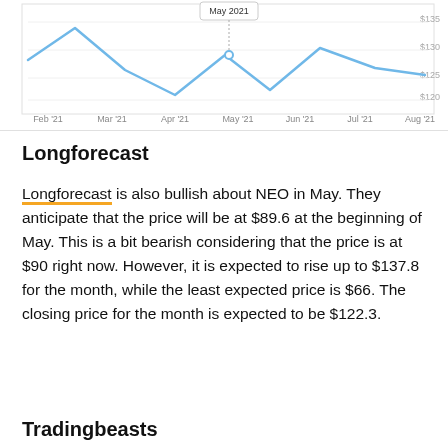[Figure (continuous-plot): Line chart showing NEO price over time from Feb '21 to Aug '21, with a tooltip showing May 2021. Price axis on right shows values around $120-$135. The line dips in mid-period and recovers partially.]
Longforecast
Longforecast is also bullish about NEO in May. They anticipate that the price will be at $89.6 at the beginning of May. This is a bit bearish considering that the price is at $90 right now. However, it is expected to rise up to $137.8 for the month, while the least expected price is $66. The closing price for the month is expected to be $122.3.
Tradingbeasts